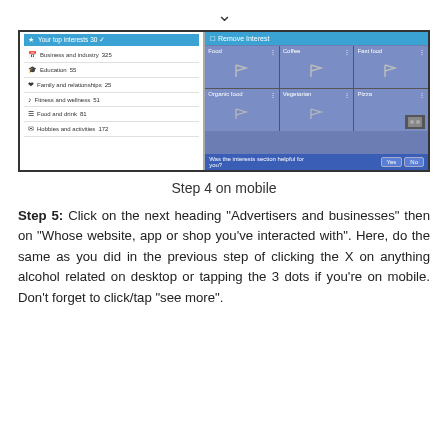[Figure (screenshot): Two mobile screenshots showing Facebook interest settings. Left panel shows interest categories (Business and industry 325, Education 55, Family and relationships 25, Fitness and wellness 51, Food and drink 81, Hobbies and activities 172). Right panel shows a 'Remove Interest' dialog with a grid of food-related interests (Food, Coffee, Fast food, Organic food, Vegetarian, Pizza) with flag placeholder images and a 'Was the interests section helpful for you? Yes/No' bar at the bottom.]
Step 4 on mobile
Step 5: Click on the next heading “Advertisers and businesses” then on “Whose website, app or shop you’ve interacted with”. Here, do the same as you did in the previous step of clicking the X on anything alcohol related on desktop or tapping the 3 dots if you’re on mobile. Don’t forget to click/tap “see more”.